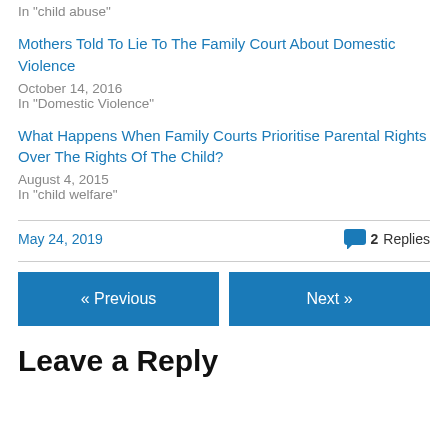In "child abuse"
Mothers Told To Lie To The Family Court About Domestic Violence
October 14, 2016
In "Domestic Violence"
What Happens When Family Courts Prioritise Parental Rights Over The Rights Of The Child?
August 4, 2015
In "child welfare"
May 24, 2019    2 Replies
« Previous
Next »
Leave a Reply